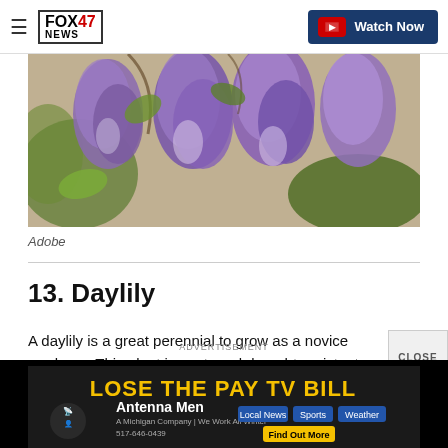FOX 47 NEWS | Watch Now
[Figure (photo): Hanging clusters of purple wisteria flowers against a stone wall backdrop, with green leaves and foliage visible]
Adobe
13. Daylily
A daylily is a great perennial to grow as a novice gardener. This plant is pest- and drought-resistant, tolerates most sunlight and soil conditions, and can live...
[Figure (infographic): Advertisement banner: LOSE THE PAY TV BILL - Antenna Men, A Michigan Company | We Work All Winter, 517-646-0439, Local News, Sports, Weather, Find Out More]